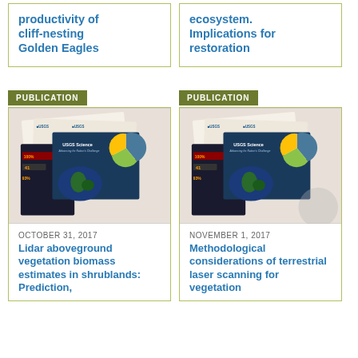productivity of cliff-nesting Golden Eagles
ecosystem. Implications for restoration
PUBLICATION
[Figure (photo): USGS Science publication materials fanned out showing reports and brochures]
OCTOBER 31, 2017
Lidar aboveground vegetation biomass estimates in shrublands: Prediction,
PUBLICATION
[Figure (photo): USGS Science publication materials fanned out showing reports and brochures]
NOVEMBER 1, 2017
Methodological considerations of terrestrial laser scanning for vegetation